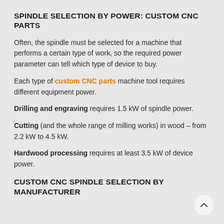SPINDLE SELECTION BY POWER: CUSTOM CNC PARTS
Often, the spindle must be selected for a machine that performs a certain type of work, so the required power parameter can tell which type of device to buy.
Each type of custom CNC parts machine tool requires different equipment power.
Drilling and engraving requires 1.5 kW of spindle power.
Cutting (and the whole range of milling works) in wood – from 2.2 kW to 4.5 kW.
Hardwood processing requires at least 3.5 kW of device power.
CUSTOM CNC SPINDLE SELECTION BY MANUFACTURER